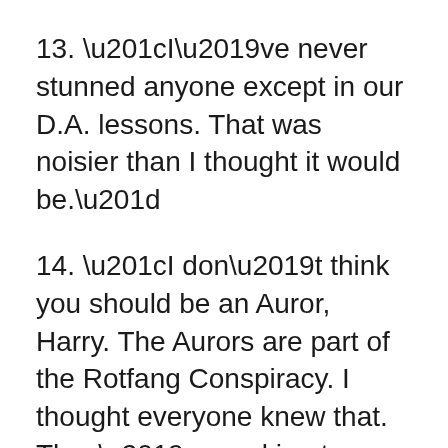13. “I’ve never stunned anyone except in our D.A. lessons. That was noisier than I thought it would be.”
14. “I don’t think you should be an Auror, Harry. The Aurors are part of the Rotfang Conspiracy. I thought everyone knew that. They’re working to bring down the Ministry of Magic from within using a mixture of dark magic and gum disease.”
15. “You can laugh! But people used to